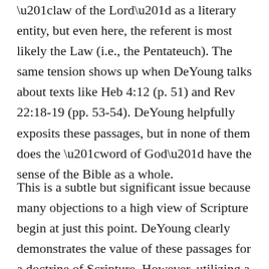“law of the Lord” as a literary entity, but even here, the referent is most likely the Law (i.e., the Pentateuch). The same tension shows up when DeYoung talks about texts like Heb 4:12 (p. 51) and Rev 22:18-19 (pp. 53-54). DeYoung helpfully exposits these passages, but in none of them does the “word of God” have the sense of the Bible as a whole.
This is a subtle but significant issue because many objections to a high view of Scripture begin at just this point. DeYoung clearly demonstrates the value of these passages for a doctrine of Scripture. However, utilizing a text that speaks of the Pentateuch or refers to